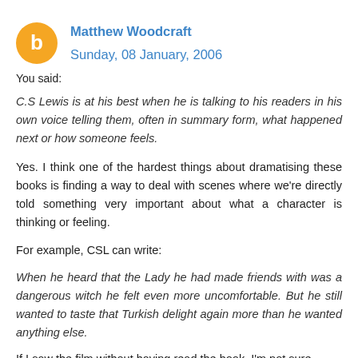Matthew Woodcraft  Sunday, 08 January, 2006
You said:
C.S Lewis is at his best when he is talking to his readers in his own voice telling them, often in summary form, what happened next or how someone feels.
Yes. I think one of the hardest things about dramatising these books is finding a way to deal with scenes where we're directly told something very important about what a character is thinking or feeling.
For example, CSL can write:
When he heard that the Lady he had made friends with was a dangerous witch he felt even more uncomfortable. But he still wanted to taste that Turkish delight again more than he wanted anything else.
If I saw the film without having read the book, I'm not sure